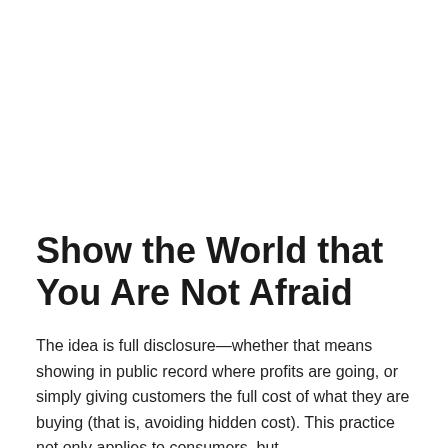Show the World that You Are Not Afraid
The idea is full disclosure—whether that means showing in public record where profits are going, or simply giving customers the full cost of what they are buying (that is, avoiding hidden cost). This practice not only applies to consumers, but